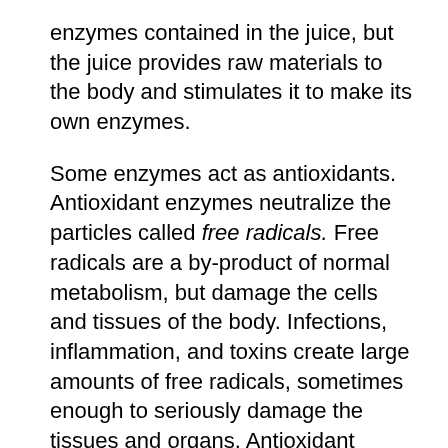enzymes contained in the juice, but the juice provides raw materials to the body and stimulates it to make its own enzymes.
Some enzymes act as antioxidants. Antioxidant enzymes neutralize the particles called free radicals. Free radicals are a by-product of normal metabolism, but damage the cells and tissues of the body. Infections, inflammation, and toxins create large amounts of free radicals, sometimes enough to seriously damage the tissues and organs. Antioxidant enzymes prevent this damage and enable the body to repair itself.